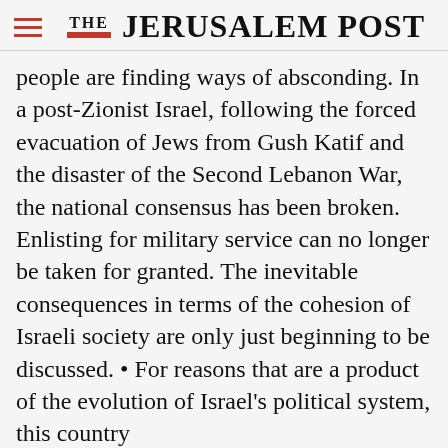THE JERUSALEM POST
people are finding ways of absconding. In a post-Zionist Israel, following the forced evacuation of Jews from Gush Katif and the disaster of the Second Lebanon War, the national consensus has been broken. Enlisting for military service can no longer be taken for granted. The inevitable consequences in terms of the cohesion of Israeli society are only just beginning to be discussed. • For reasons that are a product of the evolution of Israel's political system, this country
Advertisement